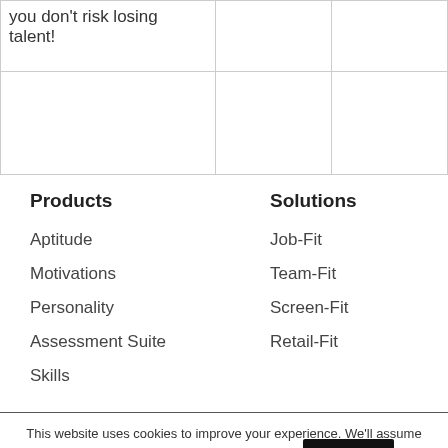| you don't risk losing talent! |  |  |
Products
Solutions
Aptitude
Job-Fit
Motivations
Team-Fit
Personality
Screen-Fit
Assessment Suite
Retail-Fit
Skills
This website uses cookies to improve your experience. We'll assume you're ok with this, but you can opt-out if you wish. Accept Cookie Policy